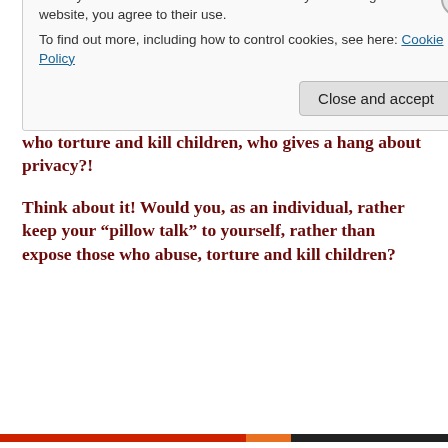Liberals are largely in control of internet providers and they fight conservatives tooth and nail.
Privacy is good, folks, but when that privacy inhibits the exposure of child traffickers, pedophiles and those who torture and kill children, who gives a hang about privacy?!
Think about it! Would you, as an individual, rather keep your “pillow talk” to yourself, rather than expose those who abuse, torture and kill children?
Privacy & Cookies: This site uses cookies. By continuing to use this website, you agree to their use.
To find out more, including how to control cookies, see here: Cookie Policy
Close and accept